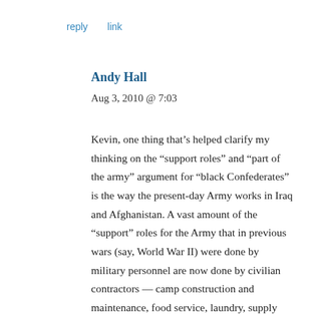reply   link
Andy Hall
Aug 3, 2010 @ 7:03
Kevin, one thing that’s helped clarify my thinking on the “support roles” and “part of the army” argument for “black Confederates” is the way the present-day Army works in Iraq and Afghanistan. A vast amount of the “support” roles for the Army that in previous wars (say, World War II) were done by military personnel are now done by civilian contractors — camp construction and maintenance, food service, laundry, supply hauling, etc. — all of which are parallel to the services that slaves performed in the Confederate army, whether as personal servants or impressed laborers. (Indeed, the first…)